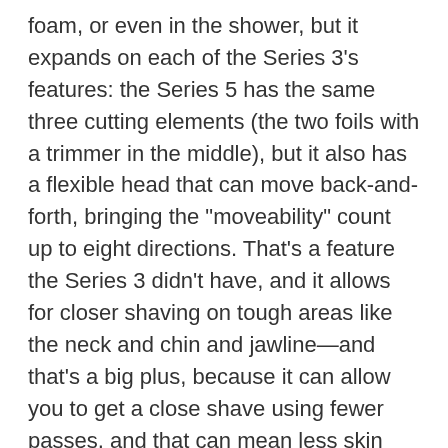foam, or even in the shower, but it expands on each of the Series 3's features: the Series 5 has the same three cutting elements (the two foils with a trimmer in the middle), but it also has a flexible head that can move back-and-forth, bringing the "moveability" count up to eight directions. That's a feature the Series 3 didn't have, and it allows for closer shaving on tough areas like the neck and chin and jawline—and that's a big plus, because it can allow you to get a close shave using fewer passes, and that can mean less skin irritation (and it can be a great shaving option for older men, too). In retrospect, it's kind of an obvious improvement, but it was a big step forward at the time. It also features on